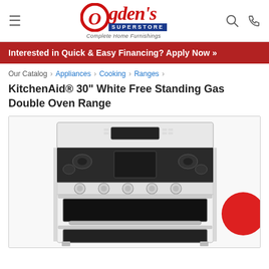Ogden's Superstore - Complete Home Furnishings
Interested in Quick & Easy Financing? Apply Now »
Our Catalog › Appliances › Cooking › Ranges ›
KitchenAid® 30" White Free Standing Gas Double Oven Range
[Figure (photo): White KitchenAid 30-inch free standing gas double oven range with black cooktop grates, five burners, digital control panel, and two oven compartments]